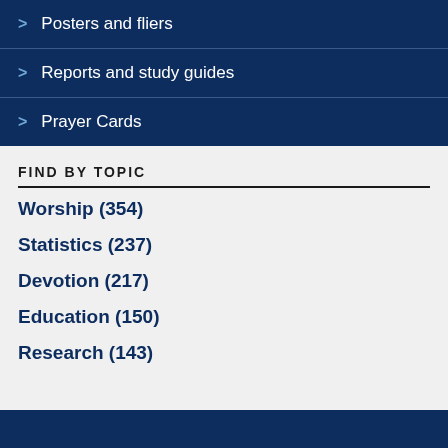Posters and fliers
Reports and study guides
Prayer Cards
FIND BY TOPIC
Worship (354)
Statistics (237)
Devotion (217)
Education (150)
Research (143)